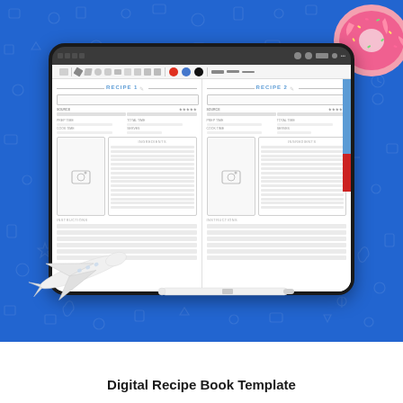[Figure (photo): Product listing image showing a digital recipe book template displayed on an iPad screen, with a pink donut in the upper right, a white airplane model in the lower left, and an Apple Pencil below the iPad, all on a blue illustrated background.]
Digital Recipe Book Template